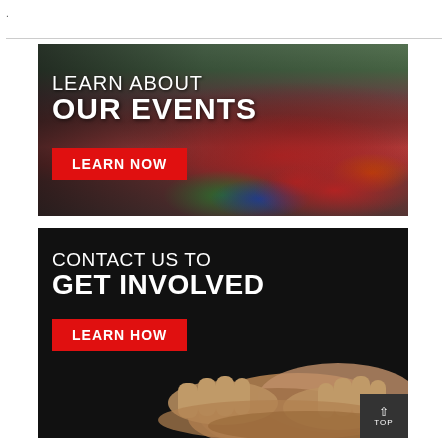.
[Figure (photo): Banner with crowd of people at an event. Text overlay reads: LEARN ABOUT OUR EVENTS with a red LEARN NOW button.]
[Figure (photo): Banner with dark background and hands outstretched. Text overlay reads: CONTACT US TO GET INVOLVED with a red LEARN HOW button. A TOP button appears in the bottom right corner.]